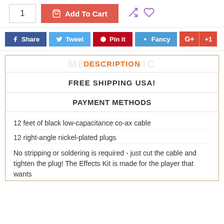1
Add To Cart
DESCRIPTION
FREE SHIPPING USA!
PAYMENT METHODS
12 feet of black low-capacitance co-ax cable
12 right-angle nickel-plated plugs
No stripping or soldering is required - just cut the cable and tighten the plug! The Effects Kit is made for the player that wants